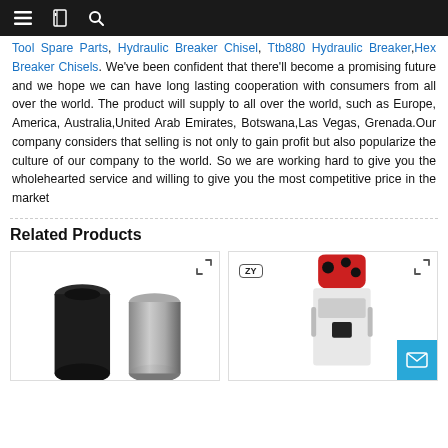Navigation bar with menu, bookmark, and search icons
Tool Spare Parts, Hydraulic Breaker Chisel, Ttb880 Hydraulic Breaker, Hex Breaker Chisels. We've been confident that there'll become a promising future and we hope we can have long lasting cooperation with consumers from all over the world. The product will supply to all over the world, such as Europe, America, Australia, United Arab Emirates, Botswana, Las Vegas, Grenada. Our company considers that selling is not only to gain profit but also popularize the culture of our company to the world. So we are working hard to give you the wholehearted service and willing to give you the most competitive price in the market
Related Products
[Figure (photo): Two black cylindrical tool spare parts / bushings shown side by side]
[Figure (photo): White and red hydraulic breaker unit with ZY badge logo, mail contact button visible]